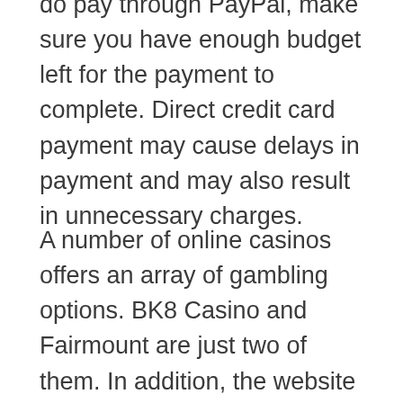do pay through PayPal, make sure you have enough budget left for the payment to complete. Direct credit card payment may cause delays in payment and may also result in unnecessary charges.
A number of online casinos offers an array of gambling options. BK8 Casino and Fairmount are just two of them. In addition, the website has an in-house news service called “ Malaysian Gambling newspaper”. This is another way to receive updates about the happenings at the casino, latest in-house promotions and the most recent news and views on the live gaming room. Most websites offer a free service for registered members.
Online casinos in Malaysia offering slot machines for live dealer games include the following: Star Bar, Cricut, Jupi